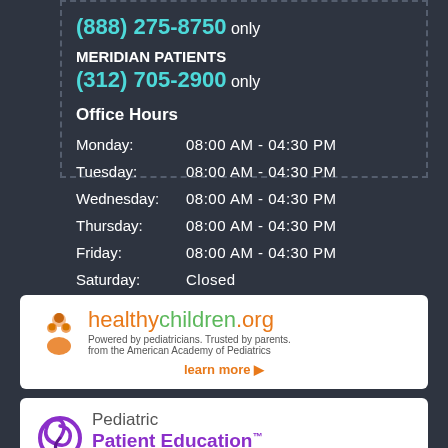(888) 275-8750 only
MERIDIAN PATIENTS
(312) 705-2900 only
Office Hours
| Day | Hours |
| --- | --- |
| Monday: | 08:00 AM - 04:30 PM |
| Tuesday: | 08:00 AM - 04:30 PM |
| Wednesday: | 08:00 AM - 04:30 PM |
| Thursday: | 08:00 AM - 04:30 PM |
| Friday: | 08:00 AM - 04:30 PM |
| Saturday: | Closed |
| Sunday: | Closed |
[Figure (logo): healthychildren.org logo - Powered by pediatricians. Trusted by parents. from the American Academy of Pediatrics]
learn more ▶
[Figure (logo): Pediatric Patient Education logo - Expert advice from the American Academy of Pediatrics]